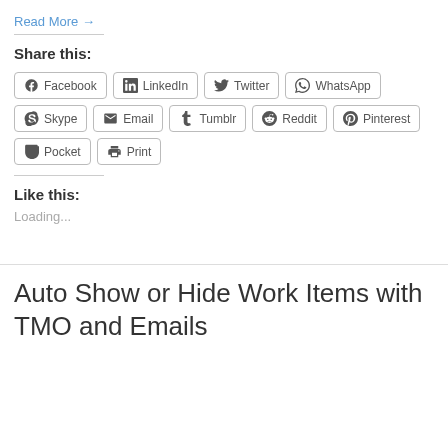Read More →
Share this:
[Figure (other): Social share buttons: Facebook, LinkedIn, Twitter, WhatsApp, Skype, Email, Tumblr, Reddit, Pinterest, Pocket, Print]
Like this:
Loading...
Auto Show or Hide Work Items with TMO and Emails